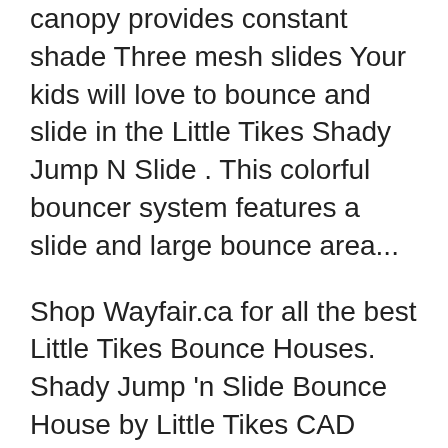canopy provides constant shade Three mesh slides Your kids will love to bounce and slide in the Little Tikes Shady Jump N Slide . This colorful bouncer system features a slide and large bounce area...
Shop Wayfair.ca for all the best Little Tikes Bounce Houses. Shady Jump 'n Slide Bounce House by Little Tikes CAD $469.99 Little Tikes Shady Jump n Slide Bouncer (620089X1) $379.99 $389.99. View details Little Tikes Jump and Double Slide Bounce House 632891C (632891C) $559.99.
Shop Little Tikes Shady Jump 'n Slide Bouncer and other name brand Yard